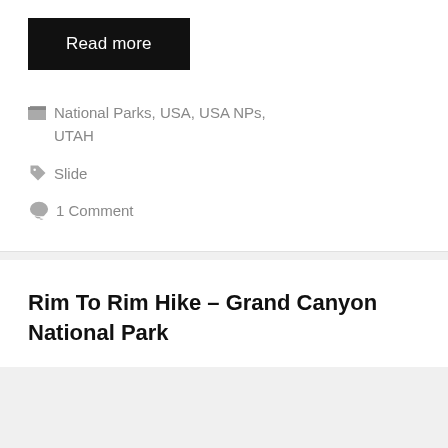Read more
National Parks, USA, USA NPs, UTAH
Slide
1 Comment
Rim To Rim Hike – Grand Canyon National Park